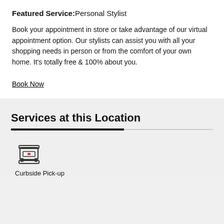Featured Service: Personal Stylist
Book your appointment in store or take advantage of our virtual appointment option. Our stylists can assist you with all your shopping needs in person or from the comfort of your own home. It's totally free & 100% about you.
Book Now
Services at this Location
[Figure (illustration): Icon of a curbside pick-up counter/kiosk]
Curbside Pick-up